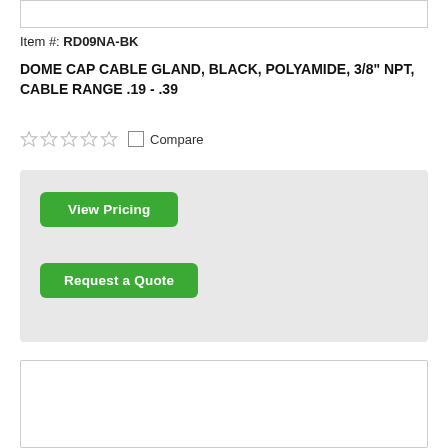[Figure (screenshot): Top white image box area (product image placeholder)]
Item #: RD09NA-BK
DOME CAP CABLE GLAND, BLACK, POLYAMIDE, 3/8" NPT, CABLE RANGE .19 - .39
[Figure (infographic): Five empty star rating icons followed by a checkbox labeled Compare]
[Figure (screenshot): Gray pricing box with two green buttons: View Pricing and Request a Quote]
[Figure (photo): Bottom product card with a heart/wishlist button and a partial product photo of the black cable gland]